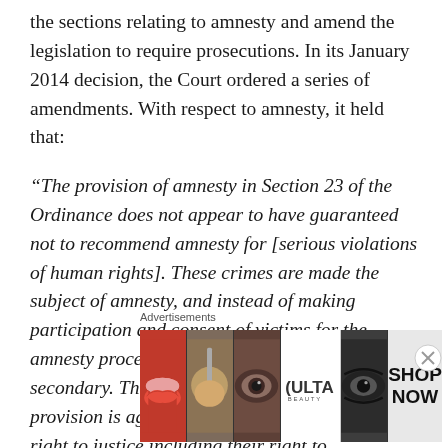the sections relating to amnesty and amend the legislation to require prosecutions. In its January 2014 decision, the Court ordered a series of amendments. With respect to amnesty, it held that:
“The provision of amnesty in Section 23 of the Ordinance does not appear to have guaranteed not to recommend amnesty for [serious violations of human rights]. These crimes are made the subject of amnesty, and instead of making participation and consent of victims for the amnesty process primary, it has been made secondary. This makes it evident that this provision is against the victims’ fundamental right to justice including their right to life, and liberty, right to information, right against torture...
[Figure (other): Advertisement banner for ULTA Beauty with close button. Shows makeup/beauty product images, ULTA logo, and SHOP NOW text.]